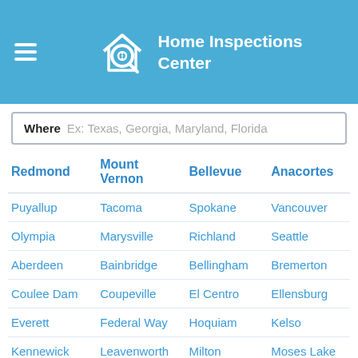Home Inspections Center
Where  Ex: Texas, Georgia, Maryland, Florida
| Redmond | Mount Vernon | Bellevue | Anacortes |
| --- | --- | --- | --- |
| Puyallup | Tacoma | Spokane | Vancouver |
| Olympia | Marysville | Richland | Seattle |
| Aberdeen | Bainbridge | Bellingham | Bremerton |
| Coulee Dam | Coupeville | El Centro | Ellensburg |
| Everett | Federal Way | Hoquiam | Kelso |
| Kennewick | Leavenworth | Milton | Moses Lake |
| Narragansett | North Kingstown | Oak Harbor | Pasco |